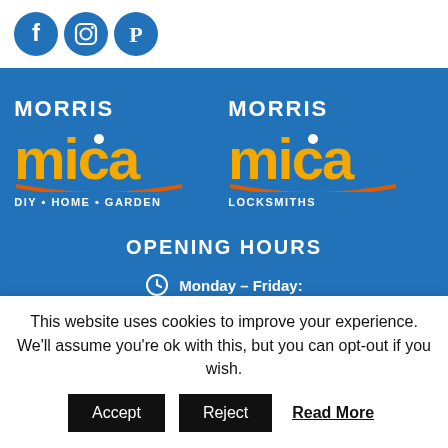[Figure (logo): Social media icons: Facebook, Instagram, Pinterest — blue circles with white icons]
[Figure (logo): Morris Mica DIY Home Garden logo — white MORRIS text, yellow/orange MICA lettering on blue background]
[Figure (logo): Morris Mica Locksmiths logo — white MORRIS text, yellow/orange MICA lettering on blue background]
OPENING HOURS
Monday – Friday:
This website uses cookies to improve your experience. We'll assume you're ok with this, but you can opt-out if you wish.
Accept
Reject
Read More